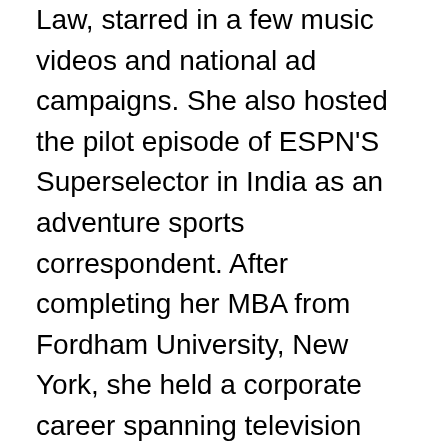Law, starred in a few music videos and national ad campaigns. She also hosted the pilot episode of ESPN'S Superselector in India as an adventure sports correspondent. After completing her MBA from Fordham University, New York, she held a corporate career spanning television and radio, with a concentration on developing start-up ventures. While setting up ImaginAsian Radio that showcased over 300 Asian American bands, she handled marketing across TV, film and radio as Marketing Director at ImaginAsian Entertainment, New York where she also guest hosted, scripted and produced several Asian American TV and radio shows like Total Timepass on Dish Network and 96.1 KSQQFM and Pulse-the Desi Beat during the course of which, she interviewed several prominent celebrities and politicians. Later,she joined radiowalla.in Network Pvt. Limite...